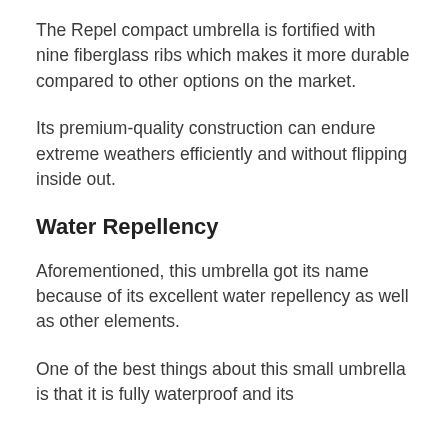The Repel compact umbrella is fortified with nine fiberglass ribs which makes it more durable compared to other options on the market.
Its premium-quality construction can endure extreme weathers efficiently and without flipping inside out.
Water Repellency
Aforementioned, this umbrella got its name because of its excellent water repellency as well as other elements.
One of the best things about this small umbrella is that it is fully waterproof and its